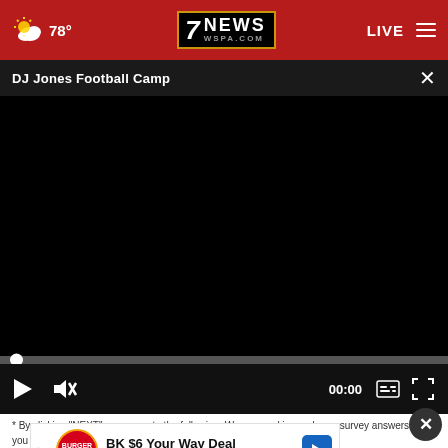7NEWS WSPA.COM — 78° LIVE
DJ Jones Football Camp
[Figure (screenshot): Black video player area showing a paused/loading video with no content visible]
00:00
* By clicking "NEXT" you agree to the following: We use cookies and your survey answers. If you would like to continue with this survey please read
[Figure (other): Burger King advertisement: BK $6 Your Way Deal — Burger King, with Burger King logo and blue navigation arrow icon]